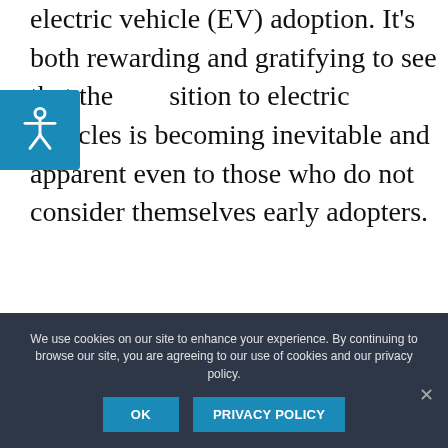electric vehicle (EV) adoption. It's both rewarding and gratifying to see that the transition to electric vehicles is becoming inevitable and apparent even to those who do not consider themselves early adopters.
This is not to say that there isn't still a lot to be done. We must continue to work to ensure theshift
[Figure (photo): Portrait photo of a middle-aged man with short brown hair, facing slightly to the right, against a warm beige/tan background]
We use cookies on our site to enhance your experience. By continuing to browse our site, you are agreeing to our use of cookies and our privacy policy.